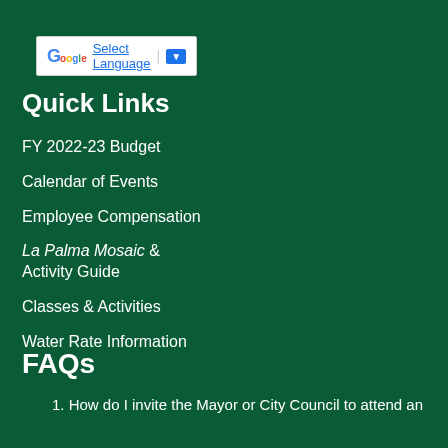[Figure (screenshot): Google Translate widget with 'Select Language' text and dropdown arrow]
Quick Links
FY 2022-23 Budget
Calendar of Events
Employee Compensation
La Palma Mosaic & Activity Guide
Classes & Activities
Water Rate Information
FAQs
1. How do I invite the Mayor or City Council to attend an